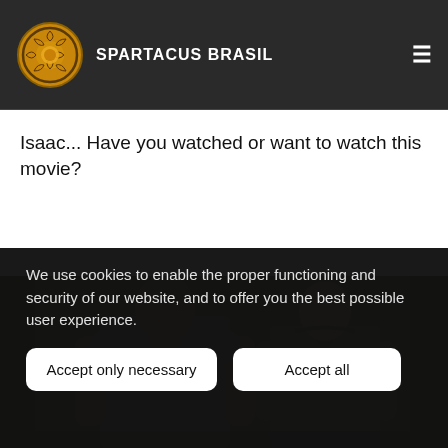SPARTACUS BRASIL
Isaac... Have you watched or want to watch this movie?
[Figure (photo): Two muscular men standing side by side in an action movie scene, outdoors with green foliage in the background. Left man wears a grey t-shirt, right man wears an olive jacket.]
We use cookies to enable the proper functioning and security of our website, and to offer you the best possible user experience.